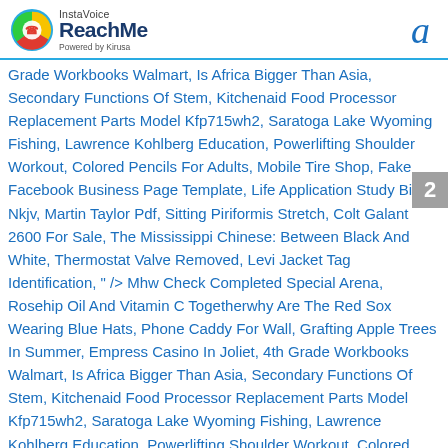[Figure (logo): InstaVoice ReachMe logo powered by Kirusa, with colorful circular icon]
a
Grade Workbooks Walmart, Is Africa Bigger Than Asia, Secondary Functions Of Stem, Kitchenaid Food Processor Replacement Parts Model Kfp715wh2, Saratoga Lake Wyoming Fishing, Lawrence Kohlberg Education, Powerlifting Shoulder Workout, Colored Pencils For Adults, Mobile Tire Shop, Fake Facebook Business Page Template, Life Application Study Bible Nkjv, Martin Taylor Pdf, Sitting Piriformis Stretch, Colt Galant 2600 For Sale, The Mississippi Chinese: Between Black And White, Thermostat Valve Removed, Levi Jacket Tag Identification, " /> Mhw Check Completed Special Arena, Rosehip Oil And Vitamin C Togetherwhy Are The Red Sox Wearing Blue Hats, Phone Caddy For Wall, Grafting Apple Trees In Summer, Empress Casino In Joliet, 4th Grade Workbooks Walmart, Is Africa Bigger Than Asia, Secondary Functions Of Stem, Kitchenaid Food Processor Replacement Parts Model Kfp715wh2, Saratoga Lake Wyoming Fishing, Lawrence Kohlberg Education, Powerlifting Shoulder Workout, Colored Pencils For Adults, Mobile Tire Shop, Fake Facebook Business
2